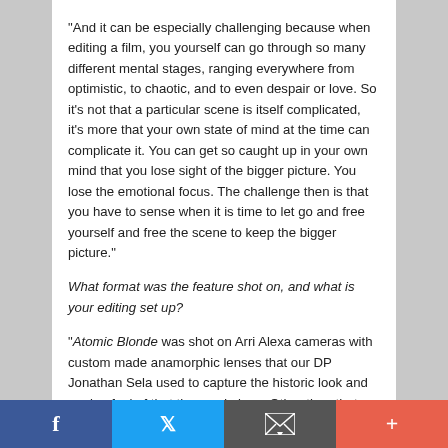“And it can be especially challenging because when editing a film, you yourself can go through so many different mental stages, ranging everywhere from optimistic, to chaotic, and to even despair or love. So it’s not that a particular scene is itself complicated, it’s more that your own state of mind at the time can complicate it. You can get so caught up in your own mind that you lose sight of the bigger picture. You lose the emotional focus. The challenge then is that you have to sense when it is time to let go and free yourself and free the scene to keep the bigger picture.”
What format was the feature shot on, and what is your editing set up?
“Atomic Blonde was shot on Arri Alexa cameras with custom made anamorphic lenses that our DP Jonathan Sela used to capture the historic look and analog feel of that time and place. Other than that, we were a standard Avid Media Composer (V.7) and ISIS set-up. During principal photography we cut at Colorfront in Budapest, Hungary, and then moved to Manhattan Beach Studios in Los Angeles. But we used post vendors all over Europe so my 1st assistant editor Matt Absher was busy juggling time-zones and language barriers.”
Facebook | Twitter | Email | Plus